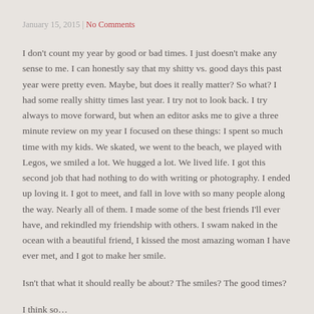January 15, 2015 | No Comments
I don't count my year by good or bad times. I just doesn't make any sense to me. I can honestly say that my shitty vs. good days this past year were pretty even. Maybe, but does it really matter? So what? I had some really shitty times last year. I try not to look back. I try always to move forward, but when an editor asks me to give a three minute review on my year I focused on these things: I spent so much time with my kids. We skated, we went to the beach, we played with Legos, we smiled a lot. We hugged a lot. We lived life. I got this second job that had nothing to do with writing or photography. I ended up loving it. I got to meet, and fall in love with so many people along the way. Nearly all of them. I made some of the best friends I'll ever have, and rekindled my friendship with others. I swam naked in the ocean with a beautiful friend, I kissed the most amazing woman I have ever met, and I got to make her smile.
Isn't that what it should really be about? The smiles? The good times?
I think so…